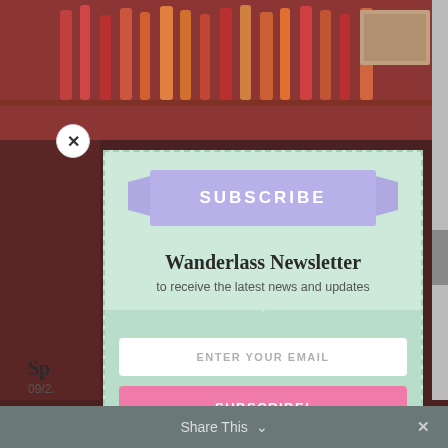[Figure (photo): Background photo of a bar with bottles and shelves]
SUBSCRIBE
Wanderlass Newsletter
to receive the latest news and updates
ENTER YOUR EMAIL
SUBSCRIBE!
Sp
09/2.
Share This ∨  ×